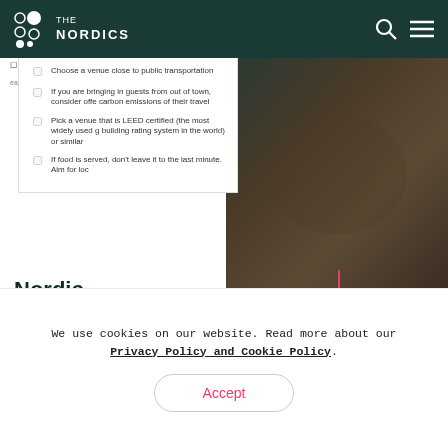THE NORDICS
Choose a venue close to public transportation
If you are bringing in guests from out of town, consider offering carbon emissions of their travel
Pick a venue that is LEED certified (the most widely used green building rating system in the world) or similar
If food is served, don't leave it to the last minute. Aim for loc
Nordic Sustainability Event Checklist
Lists
Remember to practice what
[Figure (photo): Dark brown plate image on right side panel]
Plate, dark brown
We use cookies on our website. Read more about our Privacy Policy and Cookie Policy.
Accept